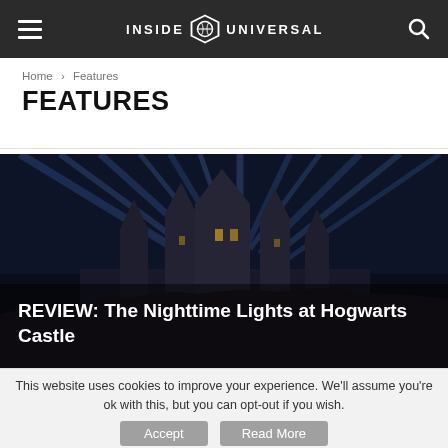INSIDE UNIVERSAL
Home › Features
FEATURES
[Figure (photo): Hogwarts Castle at night illuminated by blue light beams with dark sky background. Text overlay reads: REVIEW: The Nighttime Lights at Hogwarts Castle]
This website uses cookies to improve your experience. We'll assume you're ok with this, but you can opt-out if you wish.
Accept   Read More